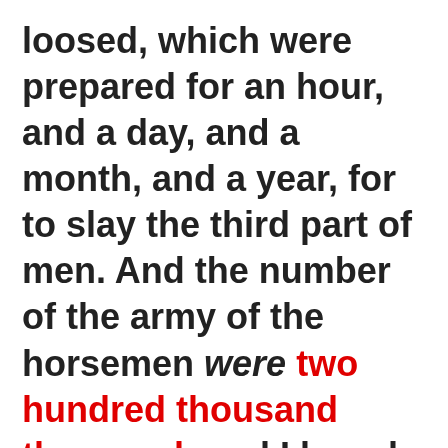loosed, which were prepared for an hour, and a day, and a month, and a year, for to slay the third part of men. And the number of the army of the horsemen were two hundred thousand thousand: and I heard the number of them. Rev. 9:15-16